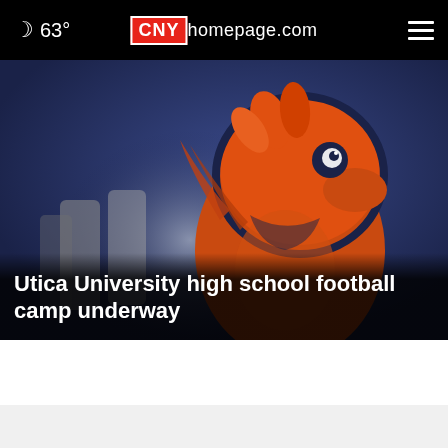63° CNYhomepage.com
[Figure (illustration): Utica University mascot — an orange bird/hawk on dark navy background]
Utica University high school football camp underway
[Figure (other): Advertisement banner: SHE CAN STEM on dark navy background with close button]